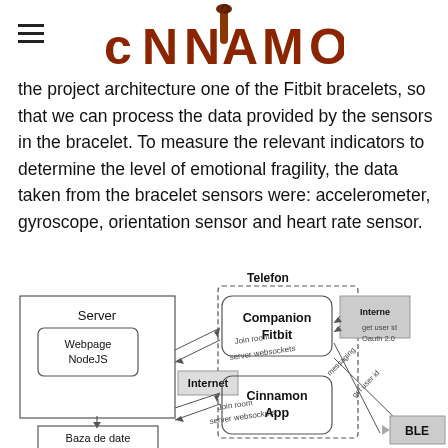CINNAMON
the project architecture one of the Fitbit bracelets, so that we can process the data provided by the sensors in the bracelet. To measure the relevant indicators to determine the level of emotional fragility, the data taken from the bracelet sensors were: accelerometer, gyroscope, orientation sensor and heart rate sensor.
[Figure (flowchart): Architecture diagram showing Server (with Webpage NodeJS and Baza de date components), connected via Internet bidirectional arrow to a Telefon section containing Companion Fitbit and Cinnamon App, with connections labeled 'Join room', 'server websockets', 'messaging', 'get user id', and an Internet block with 'get user id' and 'Oauth 2.0'. BLE connection shown at bottom right.]